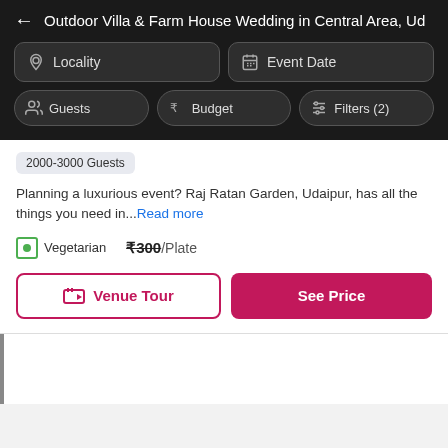← Outdoor Villa & Farm House Wedding in Central Area, Ud
Locality
Event Date
Guests
Budget
Filters (2)
2000-3000 Guests
Planning a luxurious event? Raj Ratan Garden, Udaipur, has all the things you need in...Read more
Vegetarian ₹300 /Plate
Venue Tour
See Price